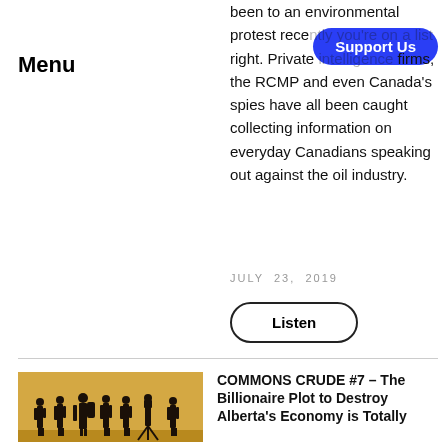Menu
been to an environmental protest rece... right. Private intelligence firms, the RCMP and even Canada's spies have all been caught collecting information on everyday Canadians speaking out against the oil industry.
Support Us
JULY 23, 2019
Listen
[Figure (photo): Silhouettes of a group of people standing against a golden/tan background]
COMMONS CRUDE #7 – The Billionaire Plot to Destroy Alberta's Economy is Totally